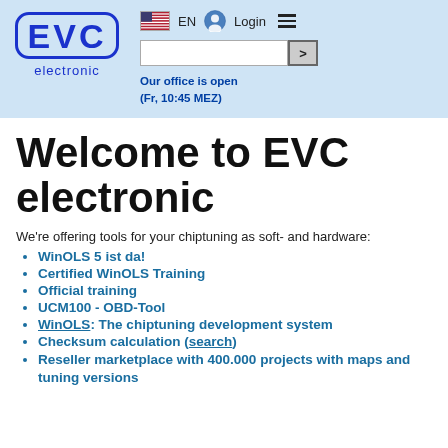[Figure (logo): EVC electronic logo — blue rounded rectangle with EVC text, 'electronic' below]
EN  Login  [hamburger menu]  Search box  Our office is open (Fr, 10:45 MEZ)
Welcome to EVC electronic
We're offering tools for your chiptuning as soft- and hardware:
WinOLS 5 ist da!
Certified WinOLS Training
Official training
UCM100 - OBD-Tool
WinOLS: The chiptuning development system
Checksum calculation (search)
Reseller marketplace with 400.000 projects with maps and tuning versions